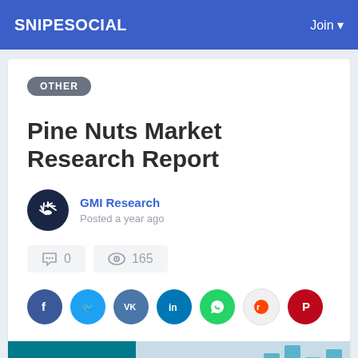SNIPESOCIAL   Join
OTHER
Pine Nuts Market Research Report
GMI Research
Posted a year ago
0   165
[Figure (infographic): Social sharing icons: Facebook, Twitter, VK, LinkedIn, WhatsApp, Reddit, Pinterest]
[Figure (photo): Preview image showing teal panel and bar chart with keyboard in background]